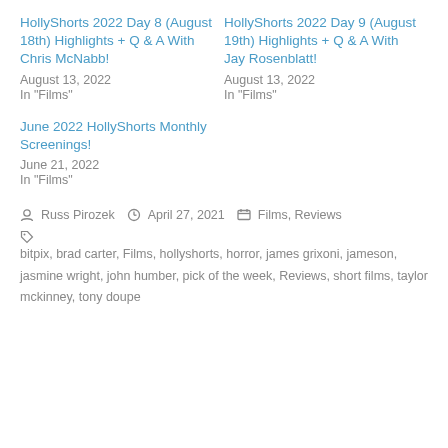HollyShorts 2022 Day 8 (August 18th) Highlights + Q & A With Chris McNabb!
August 13, 2022
In "Films"
HollyShorts 2022 Day 9 (August 19th) Highlights + Q & A With Jay Rosenblatt!
August 13, 2022
In "Films"
June 2022 HollyShorts Monthly Screenings!
June 21, 2022
In "Films"
Russ Pirozek   April 27, 2021   Films, Reviews
bitpix, brad carter, Films, hollyshorts, horror, james grixoni, jameson, jasmine wright, john humber, pick of the week, Reviews, short films, taylor mckinney, tony doupe